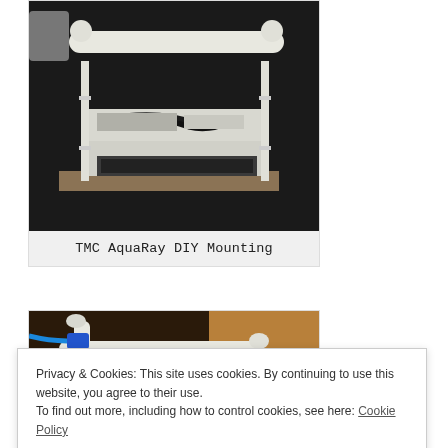[Figure (photo): Photo of TMC AquaRay DIY mounting setup on a dark surface, showing white PVC pipe frame holding electronic equipment including what appears to be a router or hub and flat components, with black cables visible]
TMC AquaRay DIY Mounting
[Figure (photo): Partial photo of another DIY mounting setup with white PVC pipes, blue cables/connectors visible, on a dark surface]
Privacy & Cookies: This site uses cookies. By continuing to use this website, you agree to their use.
To find out more, including how to control cookies, see here: Cookie Policy
Close and accept